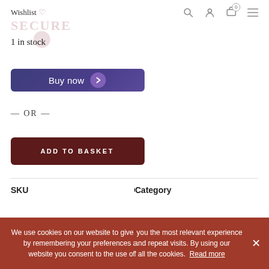Wishlist ♡
1 in stock
[Figure (other): Buy now button with purple gradient background and right-pointing arrow in circle]
— OR —
[Figure (other): ADD TO BASKET button with dark red background]
SKU
Category
We use cookies on our website to give you the most relevant experience by remembering your preferences and repeat visits. By using our website you consent to the use of all the cookies. Read more